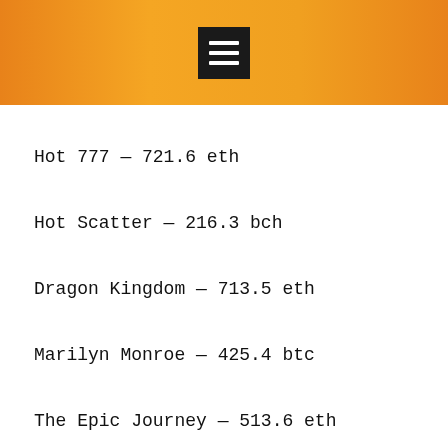[Figure (other): Orange gradient header bar with dark hamburger menu icon (three white horizontal lines on black square background)]
Hot 777 — 721.6 eth
Hot Scatter — 216.3 bch
Dragon Kingdom — 713.5 eth
Marilyn Monroe — 425.4 btc
The Epic Journey — 513.6 eth